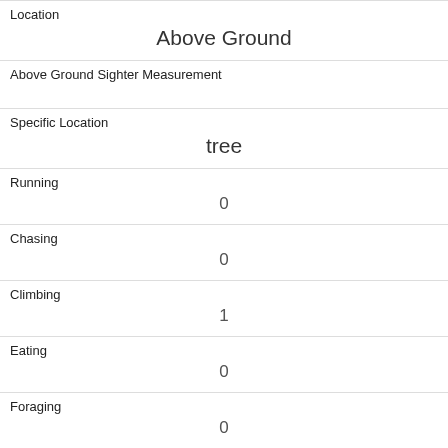| Location | Above Ground |
| Above Ground Sighter Measurement |  |
| Specific Location | tree |
| Running | 0 |
| Chasing | 0 |
| Climbing | 1 |
| Eating | 0 |
| Foraging | 0 |
| Other Activities |  |
| Kuks | 0 |